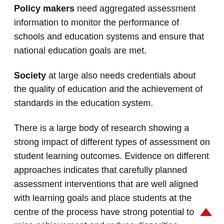Policy makers need aggregated assessment information to monitor the performance of schools and education systems and ensure that national education goals are met.
Society at large also needs credentials about the quality of education and the achievement of standards in the education system.
There is a large body of research showing a strong impact of different types of assessment on student learning outcomes. Evidence on different approaches indicates that carefully planned assessment interventions that are well aligned with learning goals and place students at the centre of the process have strong potential to raise achievement and reduce disparities.